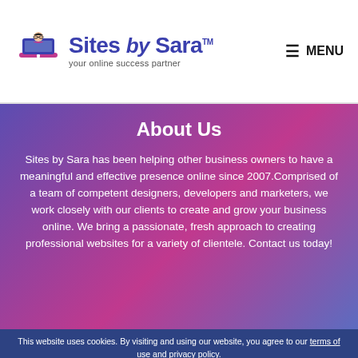Sites by Sara™ — your online success partner | MENU
About Us
Sites by Sara has been helping other business owners to have a meaningful and effective presence online since 2007.Comprised of a team of competent designers, developers and marketers, we work closely with our clients to create and grow your business online. We bring a passionate, fresh approach to creating professional websites for a variety of clientele. Contact us today!
This website uses cookies. By visiting and using our website, you agree to our terms of use and privacy policy.
I accept